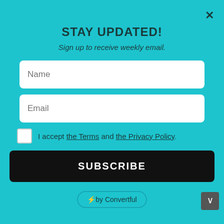STAY UPDATED!
Sign up to receive weekly email.
Name
Email
I accept the Terms and the Privacy Policy.
SUBSCRIBE
⚡by Convertful
Hulk Fist Beverage Holder
Tired of using the same old and boring beer holders? Looking for something fresh, new and fun while you cheer for your favorite team or